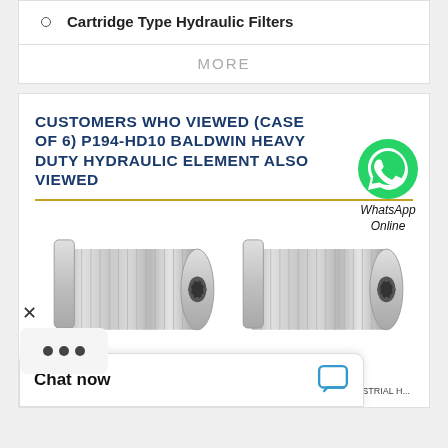Cartridge Type Hydraulic Filters
MORE
CUSTOMERS WHO VIEWED (CASE OF 6) P194-HD10 BALDWIN HEAVY DUTY HYDRAULIC ELEMENT ALSO VIEWED
[Figure (photo): Two cylindrical stainless steel hydraulic filter elements side by side, with ribbed metal mesh body and end caps]
WhatsApp Online
Chat now
... C133 CIN Baldwin INDUSTRIAL H...